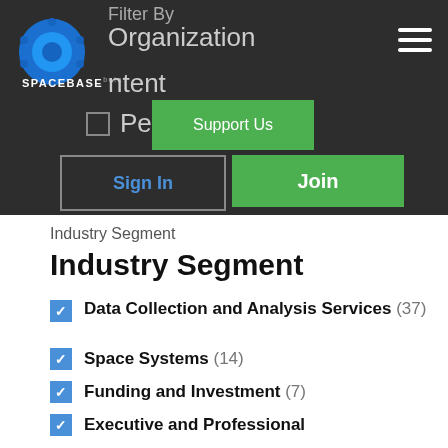[Figure (screenshot): Spacebase website navigation header with dark background, logo, Filter By label, Organization, Content, People checkboxes, Support Us green button, Sign In and Join buttons]
Industry Segment
Industry Segment
Data Collection and Analysis Services (37)
Space Systems (14)
Funding and Investment (7)
Executive and Professional